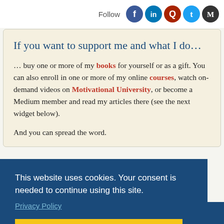Follow [Facebook] [LinkedIn] [Quora] [Twitter] [Medium]
If you want to support me and what I do…
… buy one or more of my books for yourself or as a gift. You can also enroll in one or more of my online courses, watch on-demand videos on Motivational University, or become a Medium member and read my articles there (see the next widget below).
And you can spread the word.
This website uses cookies. Your consent is needed to continue using this site.
Privacy Policy
AGREE
Optimist Writer's Articles on Medium.com